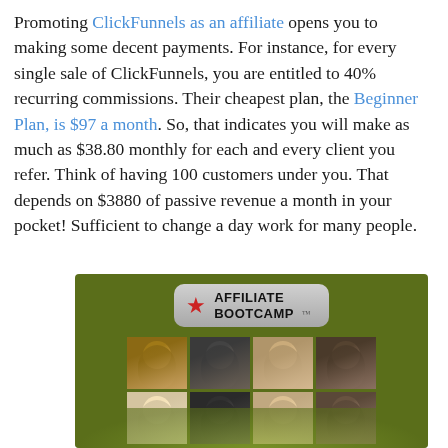Promoting ClickFunnels as an affiliate opens you to making some decent payments. For instance, for every single sale of ClickFunnels, you are entitled to 40% recurring commissions. Their cheapest plan, the Beginner Plan, is $97 a month. So, that indicates you will make as much as $38.80 monthly for each and every client you refer. Think of having 100 customers under you. That depends on $3880 of passive revenue a month in your pocket! Sufficient to change a day work for many people.
[Figure (photo): Affiliate Bootcamp promotional image on a green background showing a badge logo with a red star and the text 'AFFILIATE BOOTCAMP', with a grid of headshots of multiple people below it.]